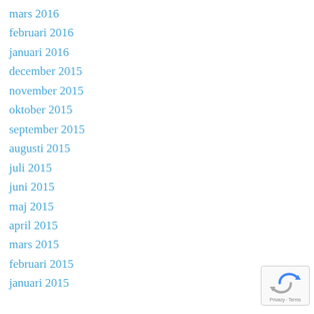mars 2016
februari 2016
januari 2016
december 2015
november 2015
oktober 2015
september 2015
augusti 2015
juli 2015
juni 2015
maj 2015
april 2015
mars 2015
februari 2015
januari 2015
[Figure (logo): reCAPTCHA badge with Privacy and Terms text]